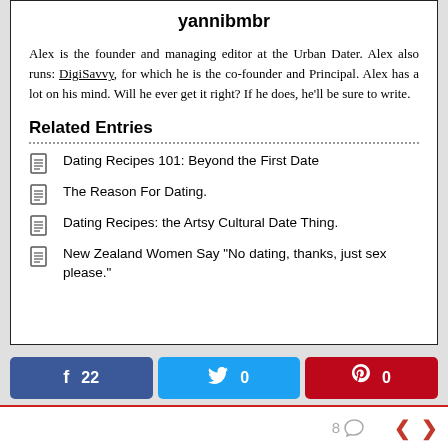yannibmbr
Alex is the founder and managing editor at the Urban Dater. Alex also runs: DigiSavvy, for which he is the co-founder and Principal. Alex has a lot on his mind. Will he ever get it right? If he does, he'll be sure to write.
Related Entries
Dating Recipes 101: Beyond the First Date
The Reason For Dating.
Dating Recipes: the Artsy Cultural Date Thing.
New Zealand Women Say "No dating, thanks, just sex please."